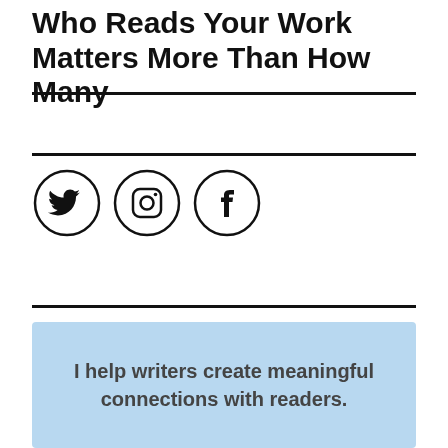Who Reads Your Work Matters More Than How Many
[Figure (illustration): Three social media icon circles in a row: Twitter (bird), Instagram (camera), Facebook (f)]
I help writers create meaningful connections with readers.